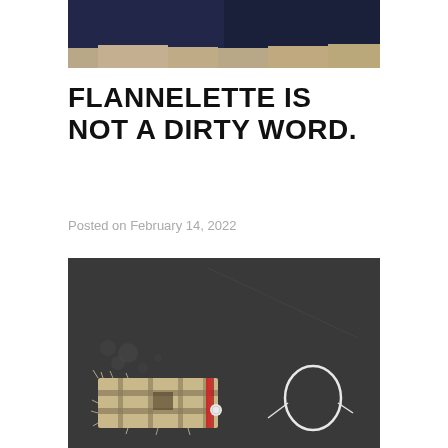[Figure (photo): Cropped photo showing lower legs/feet in blue jeans, viewed from above, standing on a light tan/beige floor surface]
FLANNELETTE IS NOT A DIRTY WORD.
Posted on February 14, 2022
[Figure (photo): Close-up photo of a frayed piece of flannelette fabric with a plaid/checked pattern in beige and dark tones, with red stitching visible, lying on a dark grey/charcoal scratched surface, with a white thread loop nearby]